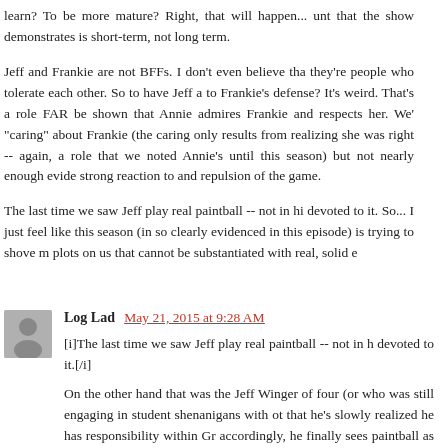learn? To be more mature? Right, that will happen... that the show demonstrates is short-term, not long term.
Jeff and Frankie are not BFFs. I don't even believe that they're people who tolerate each other. So to have Jeff a to Frankie's defense? It's weird. That's a role FAR be shown that Annie admires Frankie and respects her. We' "caring" about Frankie (the caring only results from realizing she was right -- again, a role that we noted Annie's until this season) but not nearly enough evide strong reaction to and repulsion of the game.
The last time we saw Jeff play real paintball -- not in hi devoted to it. So... I just feel like this season (in so clearly evidenced in this episode) is trying to shove m plots on us that cannot be substantiated with real, solid e
Log Lad   May 21, 2015 at 9:28 AM
[i]The last time we saw Jeff play real paintball -- not in h devoted to it.[/i]
On the other hand that was the Jeff Winger of four (or who was still engaging in student shenanigans with ot that he's slowly realized he has responsibility within Gr accordingly, he finally sees paintball as the destruction always been shown under previous instances of D paintball that the adults will have to clean up and fix the stopped playing. It's not unlikely that a character who re